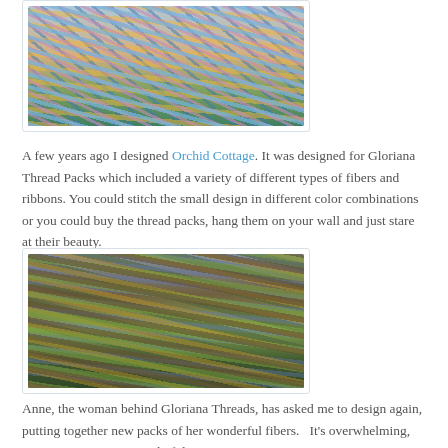[Figure (photo): Photo of colorful silk ribbons and threads in various colors including blue, pink, yellow, green and teal arranged together]
A few years ago I designed Orchid Cottage. It was designed for Gloriana Thread Packs which included a variety of different types of fibers and ribbons. You could stitch the small design in different color combinations or you could buy the thread packs, hang them on your wall and just stare at their beauty.
[Figure (photo): Photo of colorful embroidery thread skeins in brown, olive green, gold, multicolor, dark green and purple arranged side by side]
Anne, the woman behind Gloriana Threads, has asked me to design again, putting together new packs of her wonderful fibers.   It's overwhelming, it's intoxicating, it's wonderful!